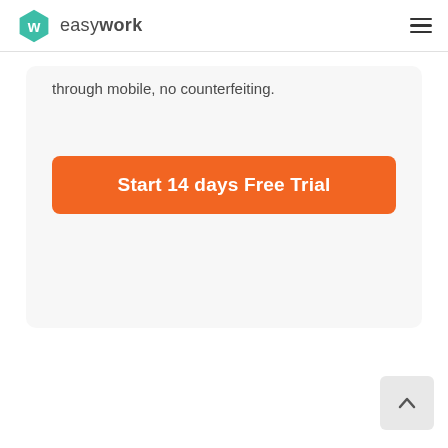easywork
through mobile, no counterfeiting.
Start 14 days Free Trial